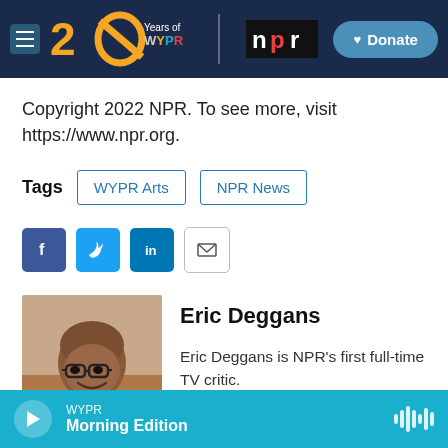[Figure (screenshot): WYPR 20 Years logo with hamburger menu, NPR logo, and Donate button on dark navy header]
Copyright 2022 NPR. To see more, visit https://www.npr.org.
Tags  WYPR Arts  NPR News
[Figure (infographic): Social sharing icons: Facebook, Twitter, LinkedIn, Email]
[Figure (photo): Photo of Eric Deggans, a bald Black man with glasses wearing a dark blazer and light pink shirt, smiling]
Eric Deggans
Eric Deggans is NPR's first full-time TV critic.
WYPR  Morning Edition